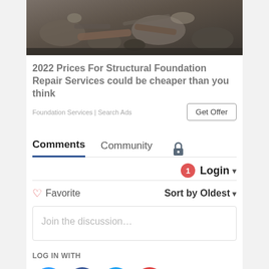[Figure (photo): Excavated rocky ground with rocks and dirt, construction/foundation site]
2022 Prices For Structural Foundation Repair Services could be cheaper than you think
Foundation Services | Search Ads
Get Offer
Comments	Community
Login
♡ Favorite	Sort by Oldest
Join the discussion…
LOG IN WITH
[Figure (logo): Social login icons: Disqus (blue), Facebook (dark blue), Twitter (light blue), Google (red)]